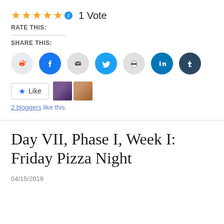[Figure (other): 5 gold stars rating with info icon and '1 Vote' text, followed by RATE THIS label and divider]
SHARE THIS:
[Figure (infographic): Row of 7 social sharing icon buttons: Reddit, Facebook, Email, Twitter, Print, LinkedIn, Tumblr]
[Figure (other): Like button with star icon and two blogger avatar thumbnails, followed by '2 bloggers like this.' text]
Day VII, Phase I, Week I: Friday Pizza Night
04/15/2019